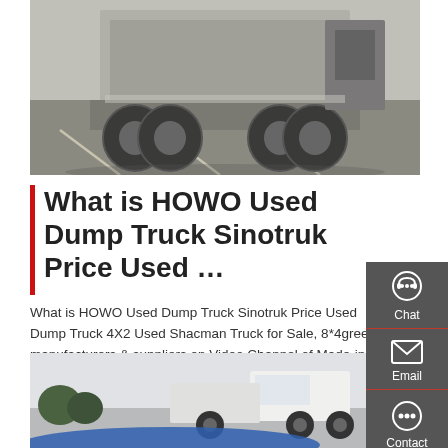[Figure (photo): Rear view of a heavy dump truck (HOWO/Sinotruk) parked on a lot, showing rear axles and tires]
What is HOWO Used Dump Truck Sinotruk Price Used …
What is HOWO Used Dump Truck Sinotruk Price Used Dump Truck 4X2 Used Shacman Truck for Sale, 8*4green manufacturers & suppliers on Video Channel of Made-in-China.com.
[Figure (screenshot): Sidebar with Chat, Email, Contact, and Top navigation buttons on a dark grey background]
[Figure (photo): White semi-truck / tractor-trailer partially visible at the bottom of the page]